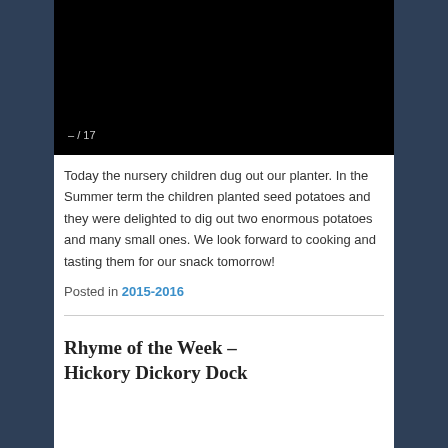[Figure (screenshot): Black video player with counter showing – / 17 in lower left]
Today the nursery children dug out our planter. In the Summer term the children planted seed potatoes and they were delighted to dig out two enormous potatoes and many small ones. We look forward to cooking and tasting them for our snack tomorrow!
Posted in 2015-2016
Rhyme of the Week – Hickory Dickory Dock